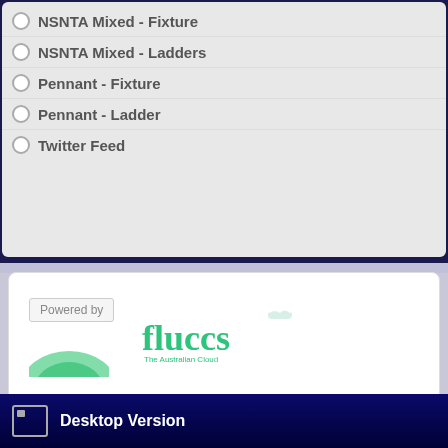NSNTA Mixed - Fixture
NSNTA Mixed - Ladders
Pennant - Fixture
Pennant - Ladder
Twitter Feed
[Figure (logo): Powered by Fluccs - The Australian Cloud logo with green hill graphic]
Copyright © 2022. Deer Park Tennis Club. Designed by Shape5.com Joomla Templates
[Figure (logo): Shape5 watermark logo repeated in background]
Desktop Version